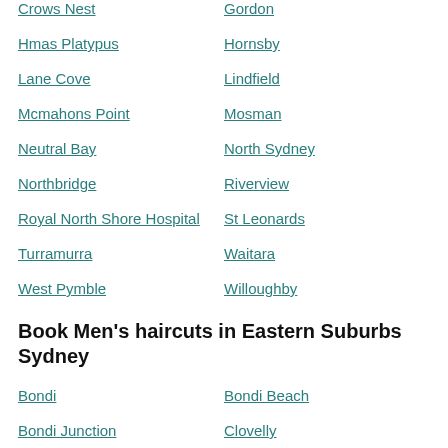Crows Nest
Gordon
Hmas Platypus
Hornsby
Lane Cove
Lindfield
Mcmahons Point
Mosman
Neutral Bay
North Sydney
Northbridge
Riverview
Royal North Shore Hospital
St Leonards
Turramurra
Waitara
West Pymble
Willoughby
Book Men's haircuts in Eastern Suburbs Sydney
Bondi
Bondi Beach
Bondi Junction
Clovelly